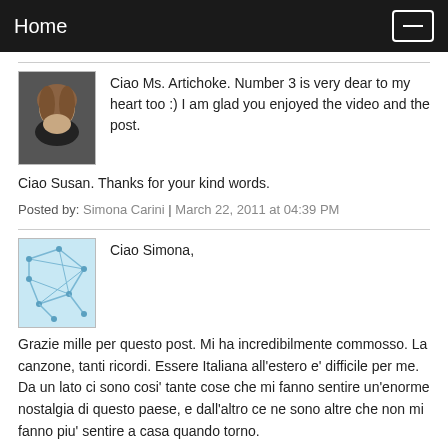Home
Ciao Ms. Artichoke. Number 3 is very dear to my heart too :) I am glad you enjoyed the video and the post.
Ciao Susan. Thanks for your kind words.
Posted by: Simona Carini | March 22, 2011 at 04:39 PM
Ciao Simona,

Grazie mille per questo post. Mi ha incredibilmente commosso. La canzone, tanti ricordi. Essere Italiana all'estero e' difficile per me. Da un lato ci sono cosi' tante cose che mi fanno sentire un'enorme nostalgia di questo paese, e dall'altro ce ne sono altre che non mi fanno piu' sentire a casa quando torno.

Un abbraccio.
Posted by: Marta | March 26, 2011 at 06:21 PM